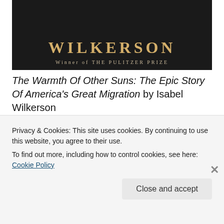[Figure (illustration): Book cover showing 'WILKERSON' in gold letters on dark background with subtitle 'Winner of THE PULITZER PRIZE']
The Warmth Of Other Suns: The Epic Story Of America's Great Migration by Isabel Wilkerson
[Figure (screenshot): Day One app advertisement - left side shows app mockup screenshots, right side shows blue background with 'DAY ONE' and tagline 'Your Journal for life']
Privacy & Cookies: This site uses cookies. By continuing to use this website, you agree to their use.
To find out more, including how to control cookies, see here: Cookie Policy